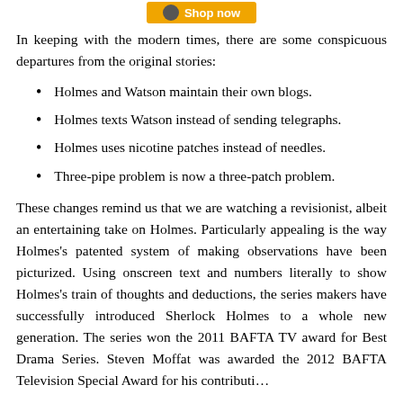[Figure (other): Shop now banner button with icon]
In keeping with the modern times, there are some conspicuous departures from the original stories:
Holmes and Watson maintain their own blogs.
Holmes texts Watson instead of sending telegraphs.
Holmes uses nicotine patches instead of needles.
Three-pipe problem is now a three-patch problem.
These changes remind us that we are watching a revisionist, albeit an entertaining take on Holmes. Particularly appealing is the way Holmes's patented system of making observations have been picturized. Using onscreen text and numbers literally to show Holmes's train of thoughts and deductions, the series makers have successfully introduced Sherlock Holmes to a whole new generation. The series won the 2011 BAFTA TV award for Best Drama Series. Steven Moffat was awarded the 2012 BAFTA Television Special Award for his contribution...